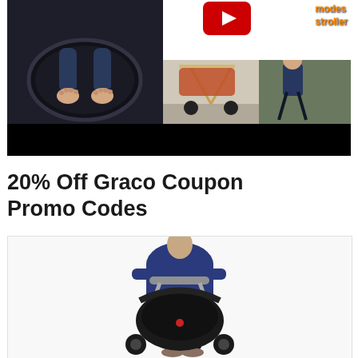[Figure (screenshot): YouTube video thumbnail showing a stroller review. Left panel shows a child seated in a stroller viewed from above. Right panels show a stroller outdoors and a person pushing a stroller. Orange text reads 'modes stroller'. Black bar at bottom of thumbnail.]
20% Off Graco Coupon Promo Codes
[Figure (photo): Photo of a woman in a navy blue top and dark jeans pushing a Graco stroller with a black and silver frame, infant car seat style.]